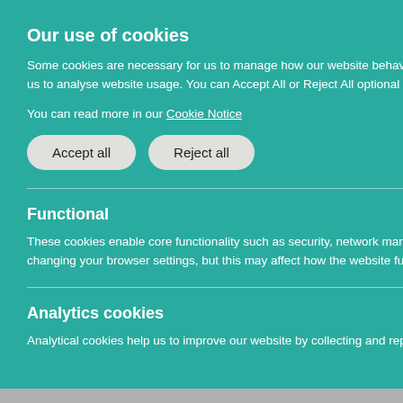The following article by the Most Revd McDowell, Archbishop and Primate of All Ireland, was published on Thursday, 31st
something significant is happening when the German language has a word to describe what is
for coining Zeitenwende (historical turning point) was the word that sums up the world are
described the build-up to that times"; a gives birth
Our use of cookies
Some cookies are necessary for us to manage how our website behaves while other optional, or non-necessary, cookies help us to analyse website usage. You can Accept All or Reject All optional cookies or control individual cookie types below.
You can read more in our Cookie Notice
Accept all
Reject all
Functional
These cookies enable core functionality such as security, network management, and accessibility. You may disable these by changing your browser settings, but this may affect how the website functions.
Analytics cookies
Analytical cookies help us to improve our website by collecting and reporting information on its usage.